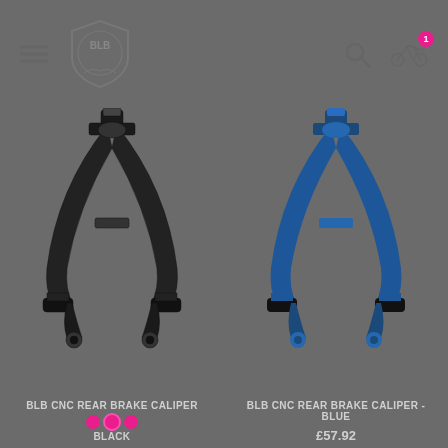[Figure (logo): BLB brand logo - shield shape with cyclist figure inside]
[Figure (photo): BLB CNC Rear Brake Caliper in black color]
BLB CNC REAR BRAKE CALIPER - BLACK
£57.92
[Figure (photo): BLB CNC Rear Brake Caliper in blue color]
BLB CNC REAR BRAKE CALIPER - BLUE
£57.92
[Figure (photo): BLB CNC Rear Brake Caliper in gold/yellow color (partially visible)]
[Figure (photo): BLB CNC Rear Brake Caliper in red/dark color (partially visible)]